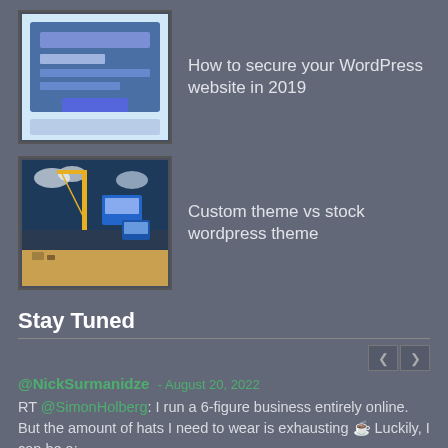[Figure (illustration): Thumbnail image of a website security illustration with blue and purple tones]
How to secure your WordPress website in 2019
[Figure (illustration): Thumbnail image of a web developer/construction site illustration with cranes and screens]
Custom theme vs stock wordpress theme
Stay Tuned
@NickSurmanidze - August 20, 2022
RT @SimonHolberg: I run a 6-figure business entirely online. But the amount of hats I need to wear is exhausting 🎩 Luckily, I can be a:...
Follow @NickSurmanidze